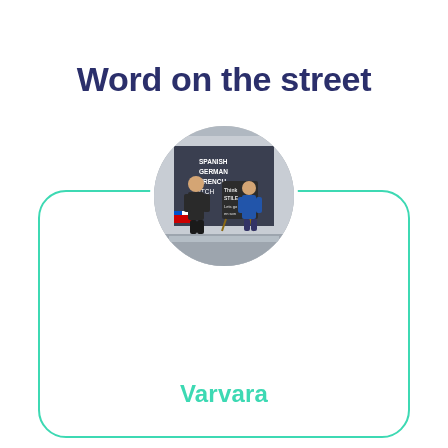Word on the street
[Figure (photo): Circular profile photo of two people standing in front of a language school storefront with signs listing Spanish, German, French and other languages. A chalkboard sign is visible.]
Varvara